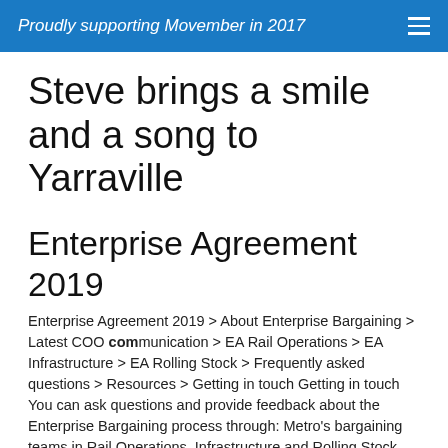Proudly supporting Movember in 2017
Steve brings a smile and a song to Yarraville
Enterprise Agreement 2019
Enterprise Agreement 2019 > About Enterprise Bargaining > Latest COO communication > EA Rail Operations > EA Infrastructure > EA Rolling Stock > Frequently asked questions > Resources > Getting in touch Getting in touch You can ask questions and provide feedback about the Enterprise Bargaining process through: Metro's bargaining teams in Rail Operations, Infrastructure and Rolling Stock Your Team Leader, Manager or People Business Partner Email M…